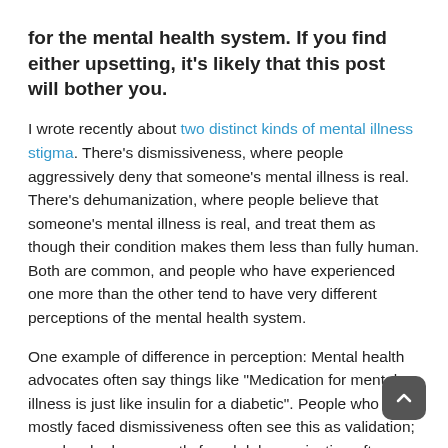for the mental health system. If you find either upsetting, it's likely that this post will bother you.
I wrote recently about two distinct kinds of mental illness stigma. There's dismissiveness, where people aggressively deny that someone's mental illness is real. There's dehumanization, where people believe that someone's mental illness is real, and treat them as though their condition makes them less than fully human. Both are common, and people who have experienced one more than the other tend to have very different perceptions of the mental health system.
One example of difference in perception: Mental health advocates often say things like "Medication for mental illness is just like insulin for a diabetic". People who have mostly faced dismissiveness often see this as validation; people who have mostly faced dehumanization often see it as a threat.
From the perspective of someone who has mostly experienced dismissiveness, it might sound like this:
I'm really glad that someone understands how serious